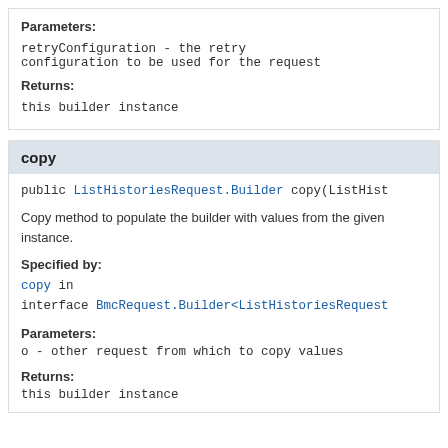Parameters:
retryConfiguration - the retry configuration to be used for the request
Returns:
this builder instance
copy
public ListHistoriesRequest.Builder copy(ListHist...
Copy method to populate the builder with values from the given instance.
Specified by:
copy in interface BmcRequest.Builder<ListHistoriesRequest...
Parameters:
o - other request from which to copy values
Returns:
this builder instance